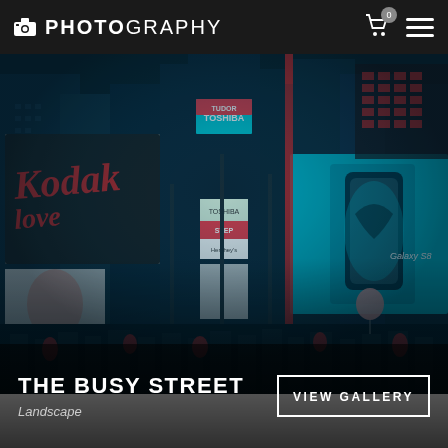PHOTOGRAPHY
[Figure (photo): Night-time Times Square in New York City, densely covered with neon billboards including Toshiba, Kodak, Samsung Galaxy S8 ads, crowded with people, dominated by teal/blue color grading with red accents.]
THE BUSY STREET
Landscape